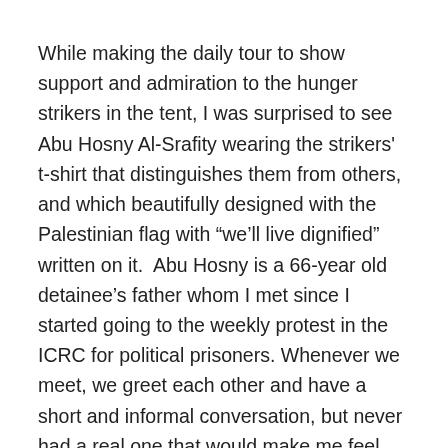While making the daily tour to show support and admiration to the hunger strikers in the tent, I was surprised to see Abu Hosny Al-Srafity wearing the strikers' t-shirt that distinguishes them from others, and which beautifully designed with the Palestinian flag with “we’ll live dignified” written on it.  Abu Hosny is a 66-year old detainee’s father whom I met since I started going to the weekly protest in the ICRC for political prisoners. Whenever we meet, we greet each other and have a short and informal conversation, but never had a real one that would make me feel like knowing him intimately. Finally, I had this conversation with him after I said “You, too?” out of surprise reacting to seeing that t-shirt.
“Absolutely!” He powerfully confirmed. “We took this step because we consider ourselves as partners in this battle of